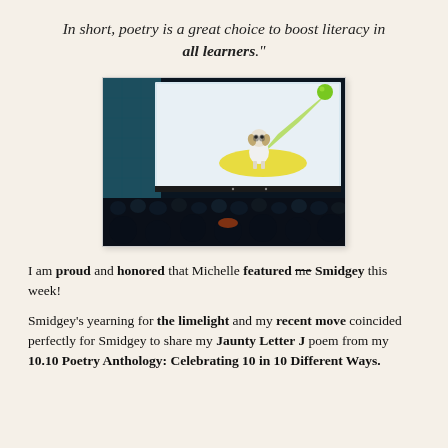In short, poetry is a great choice to boost literacy in all learners."
[Figure (photo): A dog on a cinema screen with a green ball and spotlight beams, silhouette audience in foreground]
I am proud and honored that Michelle featured me Smidgey this week!
Smidgey's yearning for the limelight and my recent move coincided perfectly for Smidgey to share my Jaunty Letter J poem from my 10.10 Poetry Anthology: Celebrating 10 in 10 Different Ways.